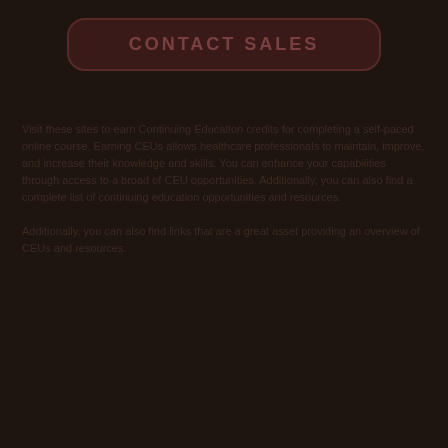[Figure (other): Button labeled CONTACT SALES with rounded rectangle border on dark background]
Visit these sites to earn Continuing Education credits for completing a self-paced online course. Earning CEUs allows healthcare professionals to maintain, improve, and increase their knowledge and skills. You can enhance your capabilities through access to a broad of CEU opportunities. Additionally, you can also find a complete list of continuing education opportunities and resources.